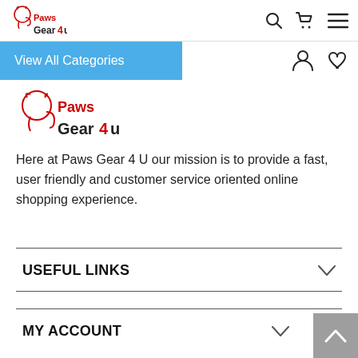Paws Gear 4 U — site header with logo, search, cart, and menu icons
View All Categories
[Figure (logo): Paws Gear 4 U logo with dog illustration]
Here at Paws Gear 4 U our mission is to provide a fast, user friendly and customer service oriented online shopping experience.
USEFUL LINKS
MY ACCOUNT